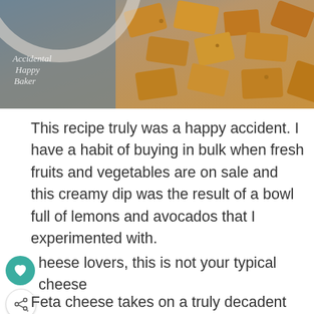[Figure (photo): Food photo showing golden baked or fried snack pieces, partially cut off at top. Text overlay reads 'Accidental Happy Baker' in white italic script on left side.]
This recipe truly was a happy accident. I have a habit of buying in bulk when fresh fruits and vegetables are on sale and this creamy dip was the result of a bowl full of lemons and avocados that I experimented with.
Cheese lovers, this is not your typical cheese
Feta cheese takes on a truly decadent texture when it's whipped with mayo and avocado.